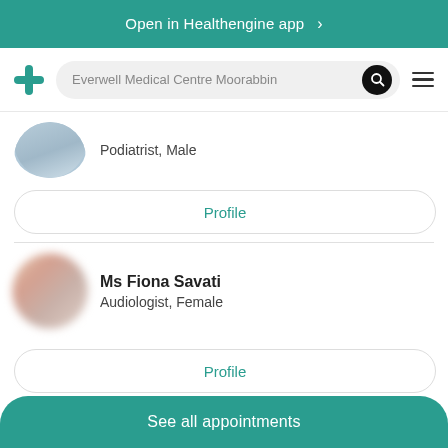Open in Healthengine app >
Everwell Medical Centre Moorabbin
Podiatrist, Male
Profile
Ms Fiona Savati
Audiologist, Female
Profile
See all appointments